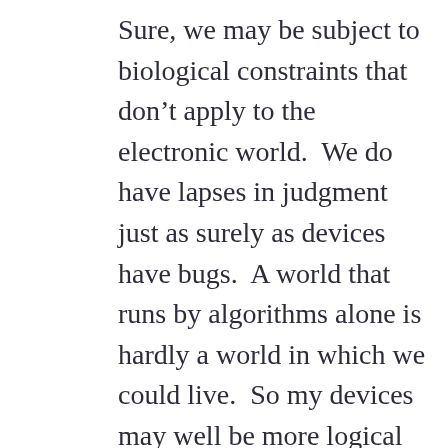Sure, we may be subject to biological constraints that don't apply to the electronic world.  We do have lapses in judgment just as surely as devices have bugs.  A world that runs by algorithms alone is hardly a world in which we could live.  So my devices may well be more logical than me, and if so they should figure out that they don't need to lie or make excuses. Just say “technical difficulties,” I can